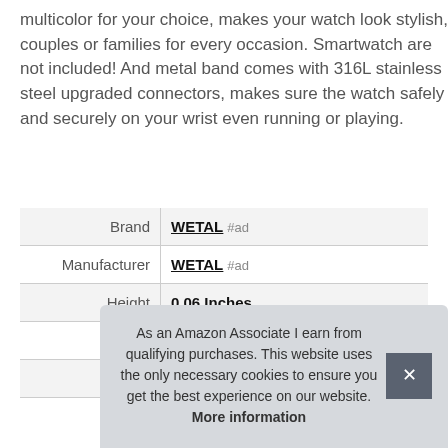multicolor for your choice, makes your watch look stylish, couples or families for every occasion. Smartwatch are not included! And metal band comes with 316L stainless steel upgraded connectors, makes sure the watch safely and securely on your wrist even running or playing.
|  |  |
| --- | --- |
| Brand | WETAL #ad |
| Manufacturer | WETAL #ad |
| Height | 0.06 Inches |
| Length | 8.66 Inches |
| Weight | 35 Grams |
As an Amazon Associate I earn from qualifying purchases. This website uses the only necessary cookies to ensure you get the best experience on our website. More information